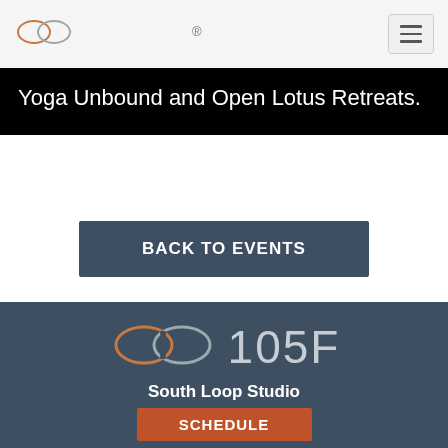[Figure (logo): 105F yoga studio logo - two overlapping circles/infinity symbol in top nav bar]
Yoga Unbound and Open Lotus Retreats.
BACK TO EVENTS
[Figure (logo): 105F yoga studio logo with infinity symbol and '105F' text in footer]
South Loop Studio
SCHEDULE